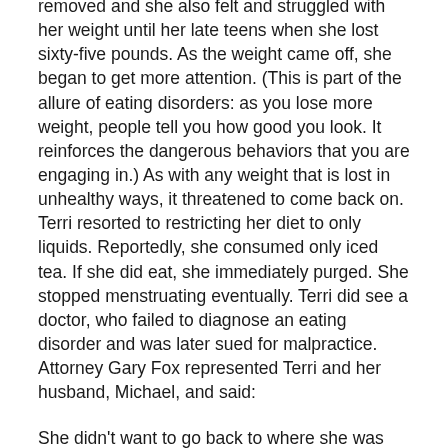removed and she also felt and struggled with her weight until her late teens when she lost sixty-five pounds. As the weight came off, she began to get more attention. (This is part of the allure of eating disorders: as you lose more weight, people tell you how good you look. It reinforces the dangerous behaviors that you are engaging in.) As with any weight that is lost in unhealthy ways, it threatened to come back on. Terri resorted to restricting her diet to only liquids. Reportedly, she consumed only iced tea. If she did eat, she immediately purged. She stopped menstruating eventually. Terri did see a doctor, who failed to diagnose an eating disorder and was later sued for malpractice. Attorney Gary Fox represented Terri and her husband, Michael, and said:
She didn't want to go back to where she was from. This [purging] was the only way she could do this in her mind and be able to eat as much as she did.